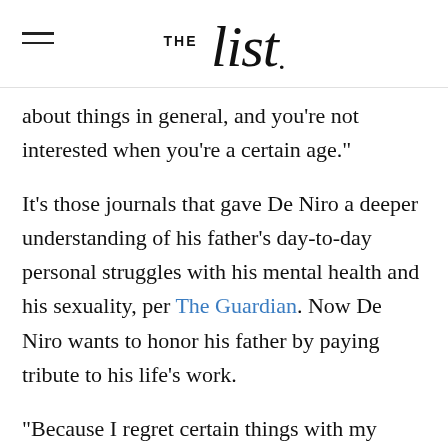THE list
about things in general, and you're not interested when you're a certain age."
It's those journals that gave De Niro a deeper understanding of his father's day-to-day personal struggles with his mental health and his sexuality, per The Guardian. Now De Niro wants to honor his father by paying tribute to his life's work.
"Because I regret certain things with my parents that I didn't follow through on. I feel it's my obligation to kind of document what he did, to keep it going. The whole reason to do it is for my father" (via Huffington Post).